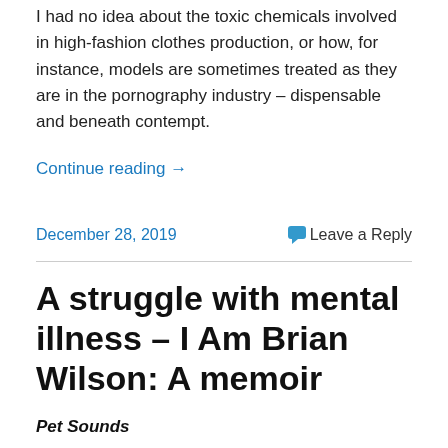I had no idea about the toxic chemicals involved in high-fashion clothes production, or how, for instance, models are sometimes treated as they are in the pornography industry – dispensable and beneath contempt.
Continue reading →
December 28, 2019
Leave a Reply
A struggle with mental illness – I Am Brian Wilson: A memoir
Pet Sounds
When I was fourteen my older brother gave me the new